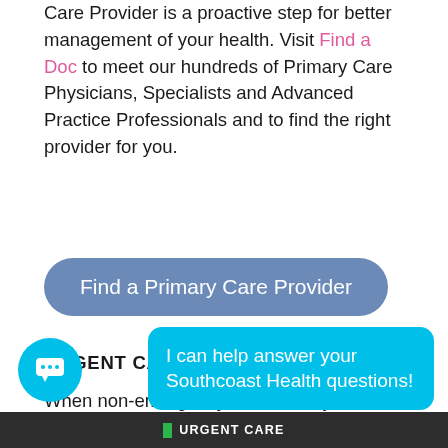Care Provider is a proactive step for better management of your health. Visit Find a Doc to meet our hundreds of Primary Care Physicians, Specialists and Advanced Practice Professionals and to find the right provider for you.
[Figure (other): Blue rounded button labeled 'Find a Primary Care Provider']
URGENT CARE
When non-emergency illness or injuries strike, Southcoast Health Urgent Care provides quick and convenient medical care that you and your family need to feel better fast.
[Figure (other): Chatbot bubble saying 'I can help answer your Southcoast Health questions!' with a cyan chat icon]
URGENT CARE